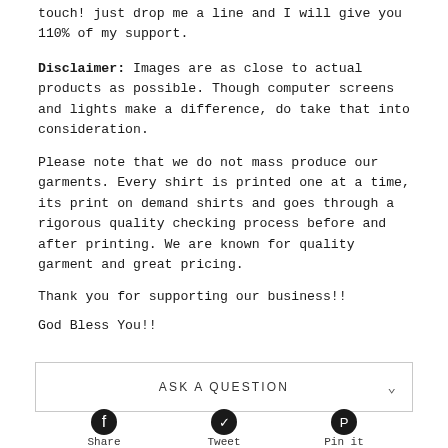touch! just drop me a line and I will give you 110% of my support.
Disclaimer: Images are as close to actual products as possible. Though computer screens and lights make a difference, do take that into consideration.
Please note that we do not mass produce our garments. Every shirt is printed one at a time, its print on demand shirts and goes through a rigorous quality checking process before and after printing. We are known for quality garment and great pricing.
Thank you for supporting our business!!
God Bless You!!
ASK A QUESTION
[Figure (other): Social sharing bar with Facebook Share, Twitter Tweet, and Pinterest Pin it buttons]